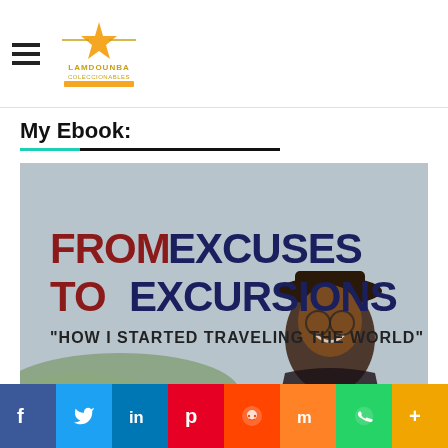LAMDOUNBA COLECCIONABLES (logo)
My Ebook:
[Figure (photo): Book cover: FROM EXCUSES TO EXCURSIONS - 'HOW I STARTED TRAVELING THE WORLD' with a photo of a smiling woman wearing a hat and sunglasses outdoors]
Social sharing bar: Facebook, Twitter, LinkedIn, Pinterest, Reddit, Mix, WhatsApp, More